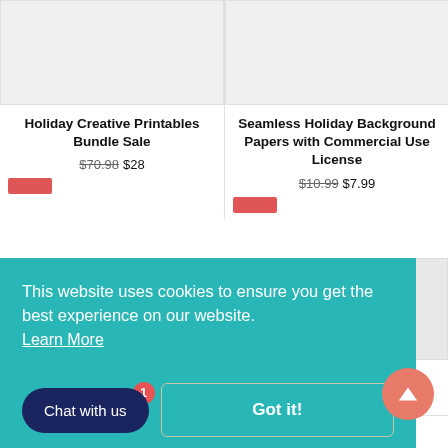[Figure (screenshot): Product thumbnail placeholder - light gray box for Holiday Creative Printables Bundle Sale]
[Figure (screenshot): Product thumbnail placeholder - light gray box for Seamless Holiday Background Papers]
Holiday Creative Printables Bundle Sale
$70.98 $28
Seamless Holiday Background Papers with Commercial Use License
$10.99 $7.99
This website uses cookies to ensure you get the best experience on our website. Learn More
Got it!
Seamless Background
Seamless Background